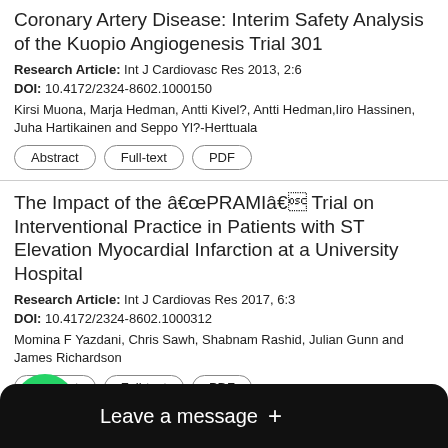Coronary Artery Disease: Interim Safety Analysis of the Kuopio Angiogenesis Trial 301
Research Article: Int J Cardiovasc Res 2013, 2:6
DOI: 10.4172/2324-8602.1000150
Kirsi Muona, Marja Hedman, Antti Kivel?, Antti Hedman,Iiro Hassinen, Juha Hartikainen and Seppo Yl?-Herttuala
The Impact of the âPRAMIâ Trial on Interventional Practice in Patients with ST Elevation Myocardial Infarction at a University Hospital
Research Article: Int J Cardiovas Res 2017, 6:3
DOI: 10.4172/2324-8602.1000312
Momina F Yazdani, Chris Sawh, Shabnam Rashid, Julian Gunn and James Richardson
...ardiovascular Dise...